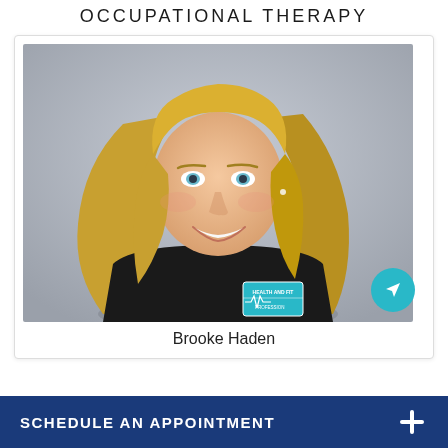OCCUPATIONAL THERAPY
[Figure (photo): Headshot photo of Brooke Haden, a young woman with long blonde hair, blue eyes, smiling, wearing a black t-shirt with a 'Health and Fitness Professions' logo patch.]
Brooke Haden
SCHEDULE AN APPOINTMENT